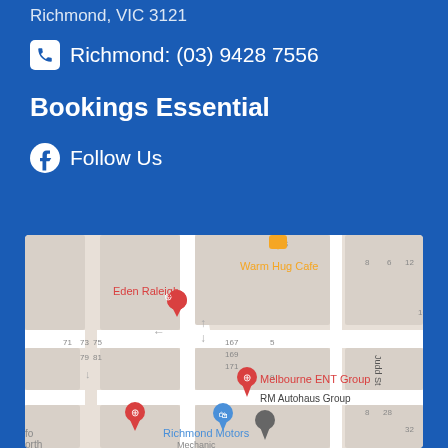Richmond, VIC 3121
Richmond: (03) 9428 7556
Bookings Essential
Follow Us
[Figure (map): Google Maps view of Richmond area showing Eden Raleigh, Warm Hug Cafe, Melbourne ENT Group, RM Autohaus Group, Richmond Motors Mechanic locations on Judd St]